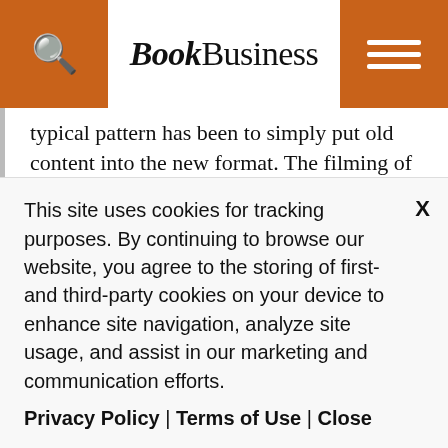BookBusiness
typical pattern has been to simply put old content into the new format. The filming of stage plays in early cinema or the reading of newspapers over the radio are two oft-cited examples.
However, I would argue that the most effective use of any medium is achieved only once the unique characteristics of that medium are fully grasped. This process takes time—but when the uniqueness
This site uses cookies for tracking purposes. By continuing to browse our website, you agree to the storing of first- and third-party cookies on your device to enhance site navigation, analyze site usage, and assist in our marketing and communication efforts.
Privacy Policy | Terms of Use | Close